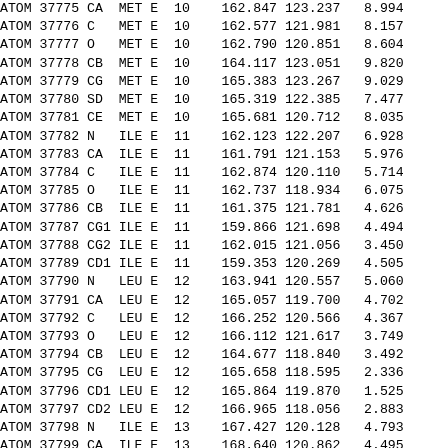| Type | Serial | Atom | Res | Chain | Seq | X | Y | Z |
| --- | --- | --- | --- | --- | --- | --- | --- | --- |
| ATOM | 37775 | CA | MET | E | 10 | 162.847 | 123.237 | 8.994 |
| ATOM | 37776 | C | MET | E | 10 | 162.577 | 121.981 | 8.157 |
| ATOM | 37777 | O | MET | E | 10 | 162.790 | 120.851 | 8.604 |
| ATOM | 37778 | CB | MET | E | 10 | 164.117 | 123.051 | 9.820 |
| ATOM | 37779 | CG | MET | E | 10 | 165.383 | 123.267 | 9.029 |
| ATOM | 37780 | SD | MET | E | 10 | 165.319 | 122.385 | 7.477 |
| ATOM | 37781 | CE | MET | E | 10 | 165.681 | 120.712 | 8.035 |
| ATOM | 37782 | N | ILE | E | 11 | 162.123 | 122.207 | 6.928 |
| ATOM | 37783 | CA | ILE | E | 11 | 161.791 | 121.153 | 5.976 |
| ATOM | 37784 | C | ILE | E | 11 | 162.874 | 120.110 | 5.714 |
| ATOM | 37785 | O | ILE | E | 11 | 162.737 | 118.934 | 6.075 |
| ATOM | 37786 | CB | ILE | E | 11 | 161.375 | 121.781 | 4.626 |
| ATOM | 37787 | CG1 | ILE | E | 11 | 159.866 | 121.698 | 4.494 |
| ATOM | 37788 | CG2 | ILE | E | 11 | 162.015 | 121.056 | 3.450 |
| ATOM | 37789 | CD1 | ILE | E | 11 | 159.353 | 120.269 | 4.505 |
| ATOM | 37790 | N | LEU | E | 12 | 163.941 | 120.557 | 5.060 |
| ATOM | 37791 | CA | LEU | E | 12 | 165.057 | 119.700 | 4.702 |
| ATOM | 37792 | C | LEU | E | 12 | 166.252 | 120.566 | 4.367 |
| ATOM | 37793 | O | LEU | E | 12 | 166.112 | 121.617 | 3.749 |
| ATOM | 37794 | CB | LEU | E | 12 | 164.677 | 118.840 | 3.492 |
| ATOM | 37795 | CG | LEU | E | 12 | 165.658 | 118.595 | 2.336 |
| ATOM | 37796 | CD1 | LEU | E | 12 | 165.864 | 119.870 | 1.525 |
| ATOM | 37797 | CD2 | LEU | E | 12 | 166.965 | 118.056 | 2.883 |
| ATOM | 37798 | N | ILE | E | 13 | 167.427 | 120.128 | 4.793 |
| ATOM | 37799 | CA | ILE | E | 13 | 168.640 | 120.862 | 4.495 |
| ATOM | 37800 | C | ILE | E | 13 | 169.699 | 119.843 | 4.142 |
| ATOM | 37801 | O | ILE | E | 13 | 169.806 | 118.803 | 4.784 |
| ATOM | 37802 | CB | ILE | E | 13 | 169.072 | 121.734 | 5.679 |
| ATOM | 37803 | CG1 | ILE | E | 13 | 169.407 | 120.880 | 6.890 |
| ATOM | 37804 | CG2 | ILE | E | 13 | 167.992 | 122.738 | 5.971 |